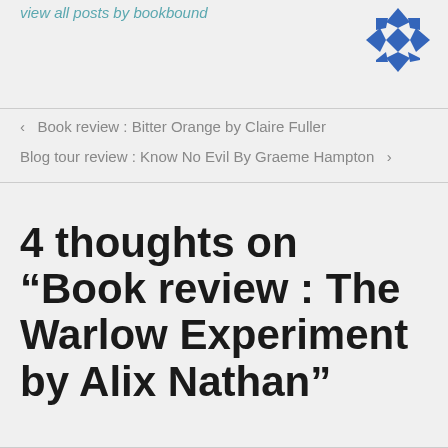view all posts by bookbound
[Figure (logo): Blue geometric snowflake/diamond logo mark]
< Book review : Bitter Orange by Claire Fuller
Blog tour review : Know No Evil By Graeme Hampton >
4 thoughts on “Book review : The Warlow Experiment by Alix Nathan”